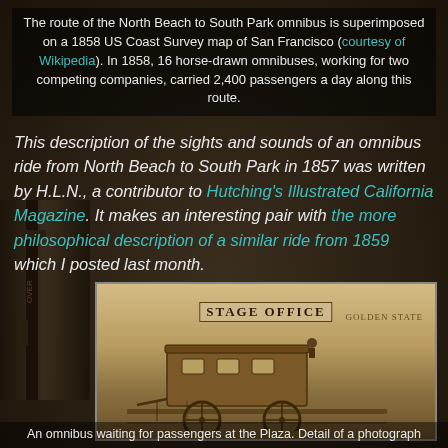The route of the North Beach to South Park omnibus is superimposed on a 1858 US Coast Survey map of San Francisco (courtesy of Wikipedia). In 1858, 16 horse-drawn omnibuses, working for two competing companies, carried 2,400 passengers a day along this route.
This description of the sights and sounds of an omnibus ride from North Beach to South Park in 1857 was written by H.L.N., a contributor to Hutching's Illustrated California Magazine. It makes an interesting pair with the more philosophical description of a similar ride from 1859 which I posted last month.
[Figure (photo): A sepia-toned historical photograph showing a horse-drawn omnibus waiting in front of a Stage Office building, with a sign reading 'STAGE OFFICE' and 'GOLDEN STATE' on an adjacent building. The omnibus is a large wooden coach with large spoked wheels.]
An omnibus waiting for passengers at the Plaza. Detail of a photograph